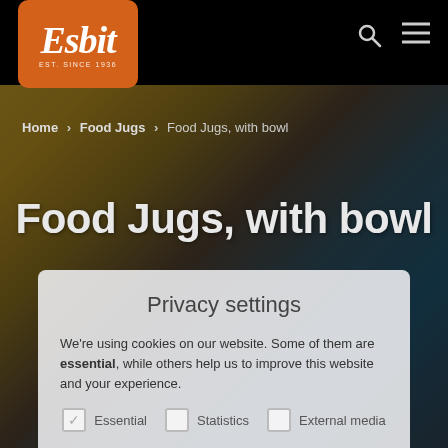[Figure (screenshot): Esbit website screenshot showing Food Jugs with bowl product category page with a dark hero image of outdoor food preparation in the background]
Esbit — EST. SINCE 1936
Home › Food Jugs › Food Jugs, with bowl
Food Jugs, with bowl
Privacy settings
We're using cookies on our website. Some of them are essential, while others help us to improve this website and your experience.
Essential   Statistics   External media